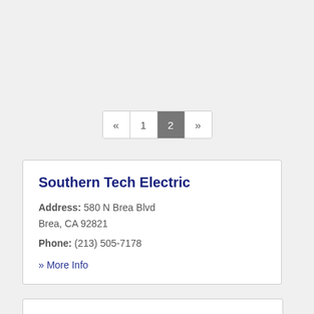[Figure (other): Pagination control showing: « 1 [2] » with page 2 active (dark gray background)]
Southern Tech Electric
Address: 580 N Brea Blvd
Brea, CA 92821
Phone: (213) 505-7178
» More Info